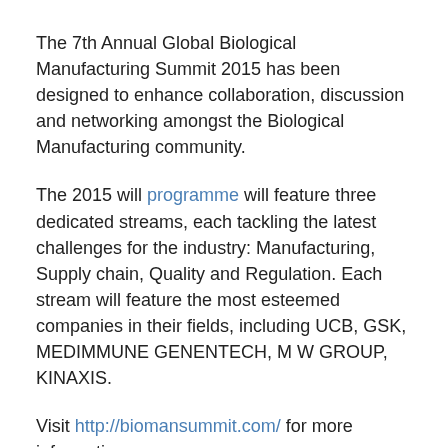The 7th Annual Global Biological Manufacturing Summit 2015 has been designed to enhance collaboration, discussion and networking amongst the Biological Manufacturing community.
The 2015 will programme will feature three dedicated streams, each tackling the latest challenges for the industry: Manufacturing, Supply chain, Quality and Regulation. Each stream will feature the most esteemed companies in their fields, including UCB, GSK, MEDIMMUNE GENENTECH, M W GROUP, KINAXIS.
Visit http://biomansummit.com/ for more information.
Book now via The Cell Culture Dish and save 15%
Cell Culture World Congress – February 23-25,